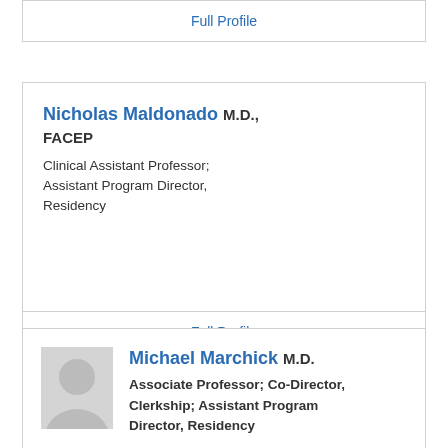Full Profile
Nicholas Maldonado M.D., FACEP
Clinical Assistant Professor; Assistant Program Director, Residency
Full Profile
Michael Marchick M.D.
Associate Professor; Co-Director, Clerkship; Assistant Program Director, Residency